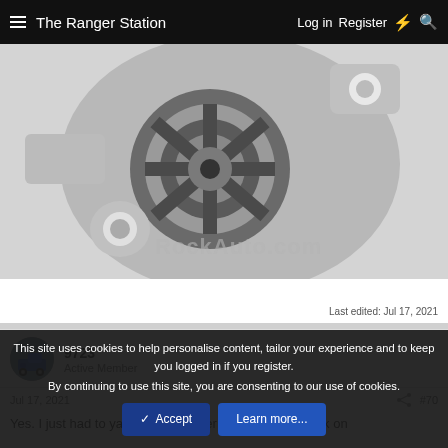The Ranger Station  Log in  Register
[Figure (photo): Close-up photo of a water pump or engine component (silver/gray metal part with bolt holes) with a RockAuto.com watermark]
Last edited: Jul 17, 2021
9723
Active Member
Jul 17, 2021  #70
Yes. I just had to yank on the starter a little. It was stuck on
This site uses cookies to help personalise content, tailor your experience and to keep you logged in if you register.
By continuing to use this site, you are consenting to our use of cookies.